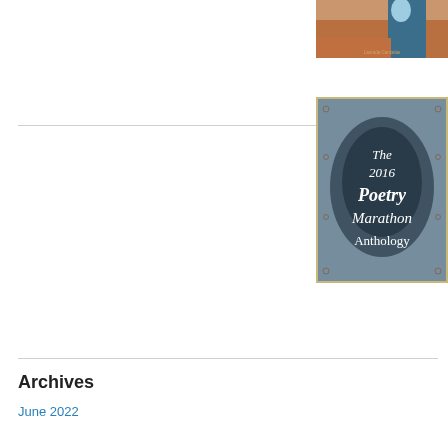[Figure (photo): Partial view of a book cover with orange/brown background and a illustrated figure]
[Figure (photo): Book cover for 'The 2016 Poetry Marathon Anthology' with a blue-grey aged canvas/chalkboard texture background and white text]
Archives
June 2022